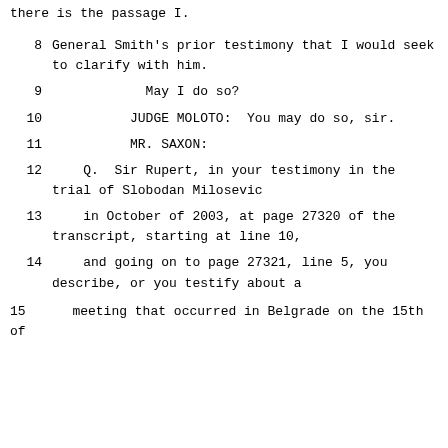there is the passage I.
8      General Smith's prior testimony that I would seek to clarify with him.
9                    May I do so?
10                   JUDGE MOLOTO:  You may do so, sir.
11                   MR. SAXON:
12      Q.  Sir Rupert, in your testimony in the trial of Slobodan Milosevic
13      in October of 2003, at page 27320 of the transcript, starting at line 10,
14      and going on to page 27321, line 5, you describe, or you testify about a
15      meeting that occurred in Belgrade on the 15th of